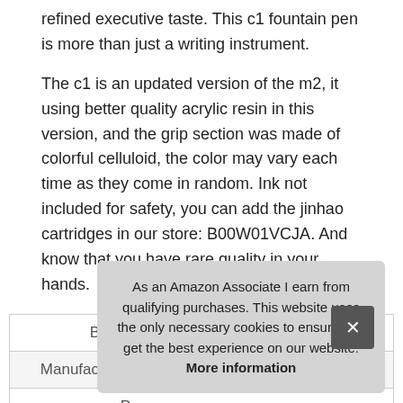refined executive taste. This c1 fountain pen is more than just a writing instrument.
The c1 is an updated version of the m2, it using better quality acrylic resin in this version, and the grip section was made of colorful celluloid, the color may vary each time as they come in random. Ink not included for safety, you can add the jinhao cartridges in our store: B00W01VCJA. And know that you have rare quality in your hands.
|  |  |
| --- | --- |
| Brand | Lanxivi #ad |
| Manufacturer | Moo-n-ma-n #ad |
| P |  |
As an Amazon Associate I earn from qualifying purchases. This website uses the only necessary cookies to ensure you get the best experience on our website. More information